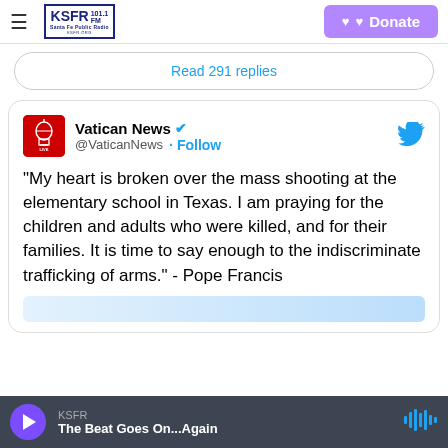KSFR 101.1 FM Santa Fe Public Radio — Donate
Read 291 replies
[Figure (screenshot): Vatican News Twitter/X post. Account: Vatican News @VaticanNews with verified badge and Follow button. Tweet text: "My heart is broken over the mass shooting at the elementary school in Texas. I am praying for the children and adults who were killed, and for their families. It is time to say enough to the indiscriminate trafficking of arms." - Pope Francis]
KSFR — The Beat Goes On...Again